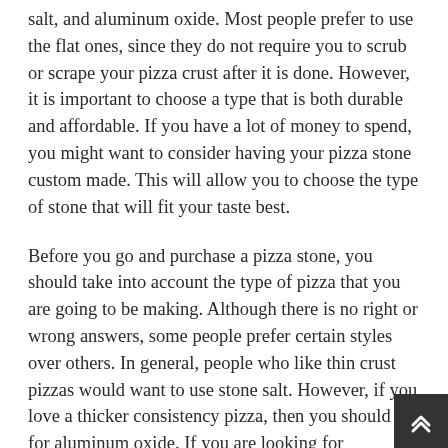salt, and aluminum oxide. Most people prefer to use the flat ones, since they do not require you to scrub or scrape your pizza crust after it is done. However, it is important to choose a type that is both durable and affordable. If you have a lot of money to spend, you might want to consider having your pizza stone custom made. This will allow you to choose the type of stone that will fit your taste best.
Before you go and purchase a pizza stone, you should take into account the type of pizza that you are going to be making. Although there is no right or wrong answers, some people prefer certain styles over others. In general, people who like thin crust pizzas would want to use stone salt. However, if you love a thicker consistency pizza, then you should opt for aluminum oxide. If you are looking for something in between, then you can use both of them. The secret is knowing which type of pizza stone is the